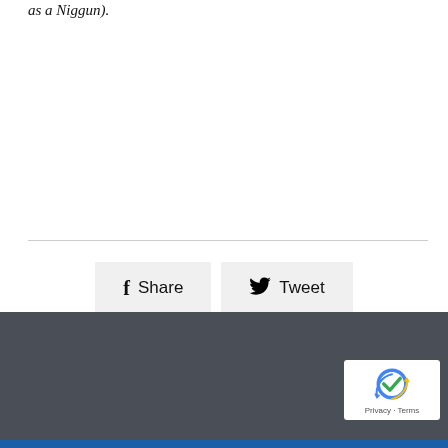as a Niggun).
[Figure (infographic): Share and Tweet social media buttons with Facebook 'f' icon and Twitter bird icon on light gray backgrounds]
Dark gray footer bar with reCAPTCHA badge showing 'Privacy · Terms' and a blue bottom bar